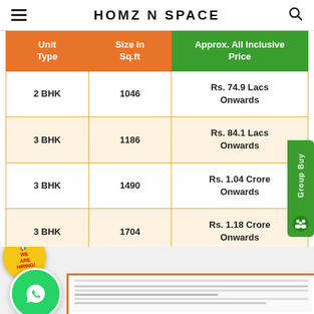HOMZ N SPACE
| Unit Type | Size in Sq.ft | Approx. All Inclusive Price |
| --- | --- | --- |
| 2 BHK | 1046 | Rs. 74.9 Lacs Onwards |
| 3 BHK | 1186 | Rs. 84.1 Lacs Onwards |
| 3 BHK | 1490 | Rs. 1.04 Crore Onwards |
| 3 BHK | 1704 | Rs. 1.18 Crore Onwards |
[Figure (other): We Are Hiring badge - yellow circular badge with red text]
[Figure (other): WhatsApp contact button - green circle with WhatsApp logo]
[Figure (other): Group Buy sidebar button - green vertical bar on right side]
[Figure (other): Document/brochure preview strip at bottom of page]